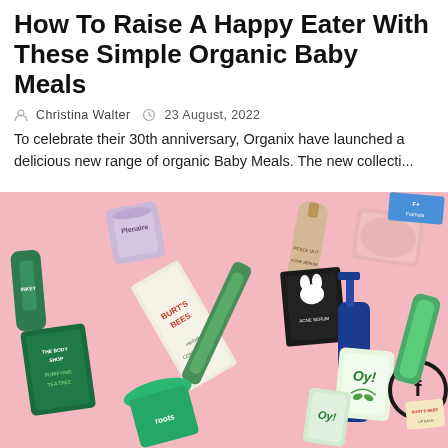How To Raise A Happy Eater With These Simple Organic Baby Meals
Christina Walter   23 August, 2022
To celebrate their 30th anniversary, Organix have launched a delicious new range of organic Baby Meals. The new collecti...
[Figure (photo): Flat lay photo of various skincare and beauty product bottles and containers scattered on a pink background, including Burt's Bees, Plenaire, The Body Shop Tea Tree, Oy! and other brands.]